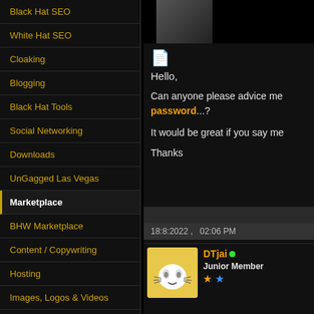Black Hat SEO
White Hat SEO
Cloaking
Blogging
Black Hat Tools
Social Networking
Downloads
UnGagged Las Vegas
Marketplace
BHW Marketplace
Content / Copywriting
Hosting
Images, Logos & Videos
Proxies for Sale
SEO - Link building
SEO - Packages
Social Media
Hello,

Can anyone please advice me password...?

It would be great if you say me

Thanks
18:8:2022 ,   02:06 PM
DTjai
Junior Member